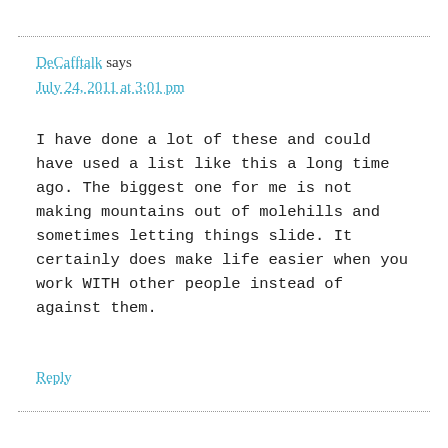DeCafftalk says
July 24, 2011 at 3:01 pm
I have done a lot of these and could have used a list like this a long time ago. The biggest one for me is not making mountains out of molehills and sometimes letting things slide. It certainly does make life easier when you work WITH other people instead of against them.
Reply